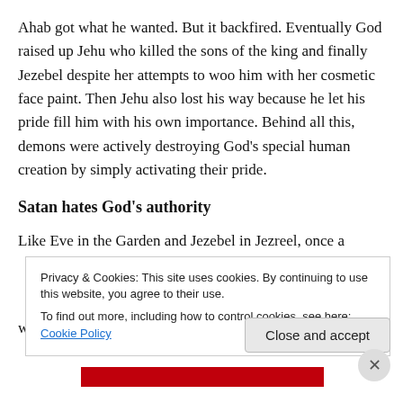Ahab got what he wanted. But it backfired. Eventually God raised up Jehu who killed the sons of the king and finally Jezebel despite her attempts to woo him with her cosmetic face paint. Then Jehu also lost his way because he let his pride fill him with his own importance. Behind all this, demons were actively destroying God’s special human creation by simply activating their pride.
Satan hates God’s authority
Like Eve in the Garden and Jezebel in Jezreel, once a woman chooses pride she will be used by Satan to envy
Privacy & Cookies: This site uses cookies. By continuing to use this website, you agree to their use.
To find out more, including how to control cookies, see here: Cookie Policy